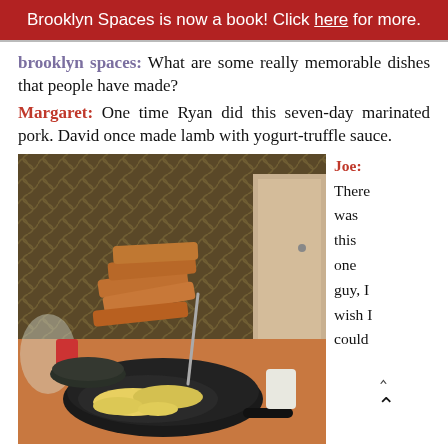Brooklyn Spaces is now a book! Click here for more.
brooklyn spaces: What are some really memorable dishes that people have made?
Margaret: One time Ryan did this seven-day marinated pork. David once made lamb with yogurt-truffle sauce.
[Figure (photo): Food photo showing scrambled eggs in a cast iron pan with bread/toast stacked in the background on a wooden table, with a patterned textile/blanket behind.]
Joe: There was this one guy, I wish I could
remember his name, who was traveling in India, and there's a certain type of tea that you can only get on this